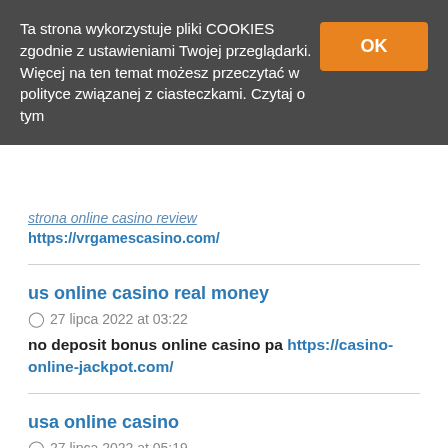Ta strona wykorzystuje pliki COOKIES zgodnie z ustawieniami Twojej przeglądarki. Więcej na ten temat możesz przeczytać w polityce związanej z ciasteczkami. Czytaj o tym
OK
strona online casino review https://vrgamescasino.com/
us online casino real money
27 lipca 2022 at 03:22
no deposit bonus online casino pa https://casino-online-jackpot.com/
usa online casino
27 lipca 2022 at 05:19
online casino no deposit bonus codes 2020